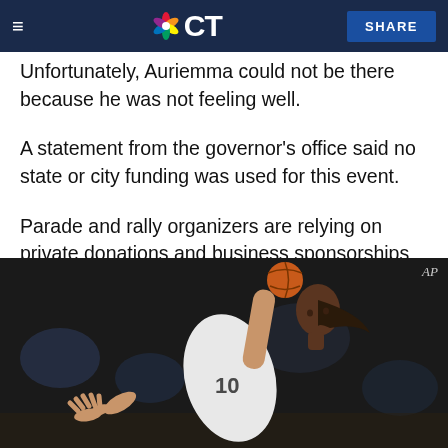NBC CT — SHARE
Unfortunately, Auriemma could not be there because he was not feeling well.
A statement from the governor's office said no state or city funding was used for this event.
Parade and rally organizers are relying on private donations and business sponsorships to finance the event.
[Figure (photo): A female basketball player in a white jersey shooting a layup, photographed from below against a dark arena background. AP photo credit in top right corner.]